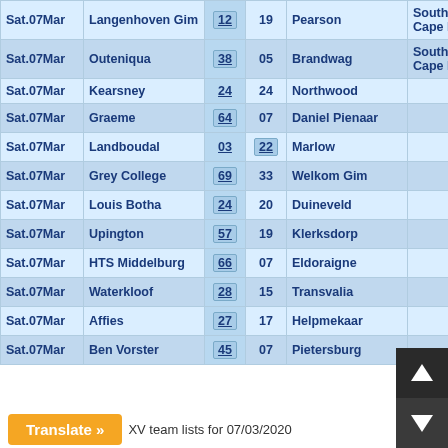| Date | Team 1 | Score 1 | Score 2 | Team 2 | Competition |
| --- | --- | --- | --- | --- | --- |
| Sat.07Mar | Langenhoven Gim | 12 | 19 | Pearson | South East Cape R/D |
| Sat.07Mar | Outeniqua | 38 | 05 | Brandwag | South East Cape R/D |
| Sat.07Mar | Kearsney | 24 | 24 | Northwood |  |
| Sat.07Mar | Graeme | 64 | 07 | Daniel Pienaar |  |
| Sat.07Mar | Landboudal | 03 | 22 | Marlow |  |
| Sat.07Mar | Grey College | 69 | 33 | Welkom Gim |  |
| Sat.07Mar | Louis Botha | 24 | 20 | Duineveld |  |
| Sat.07Mar | Upington | 57 | 19 | Klerksdorp |  |
| Sat.07Mar | HTS Middelburg | 66 | 07 | Eldoraigne |  |
| Sat.07Mar | Waterkloof | 28 | 15 | Transvalia |  |
| Sat.07Mar | Affies | 27 | 17 | Helpmekaar |  |
| Sat.07Mar | Ben Vorster | 45 | 07 | Pietersburg |  |
XV team lists for 07/03/2020